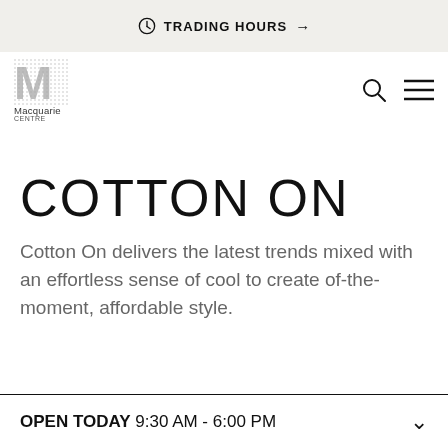TRADING HOURS →
[Figure (logo): Macquarie Centre logo — stylized dotted M letter with 'Macquarie Centre' text below]
COTTON ON
Cotton On delivers the latest trends mixed with an effortless sense of cool to create of-the-moment, affordable style.
OPEN TODAY 9:30 AM - 6:00 PM